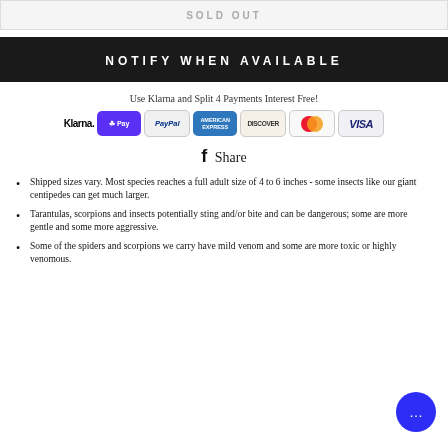SOLD OUT
NOTIFY WHEN AVAILABLE
Use Klarna and Split 4 Payments Interest Free!
[Figure (logo): Payment method logos: Klarna, Shopify Pay, PayPal, American Express, Discover, Mastercard, Visa]
Share
Shipped sizes vary. Most species reaches a full adult size of 4 to 6 inches - some insects like our giant centipedes can get much larger.
Tarantulas, scorpions and insects potentially sting and/or bite and can be dangerous; some are more gentle and some more aggressive.
Some of the spiders and scorpions we carry have mild venom and some are more toxic or highly venomous.